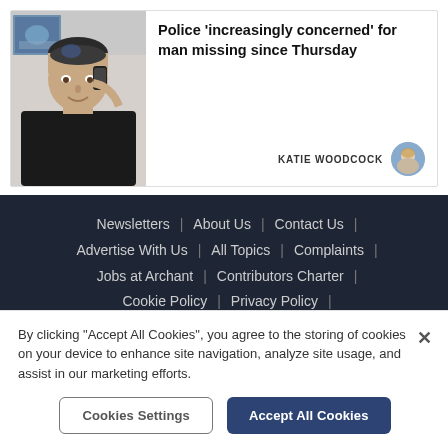[Figure (photo): Photo of a young man in a black t-shirt holding a phone to his ear, with a painting visible in the background.]
Police 'increasingly concerned' for man missing since Thursday
KATIE WOODCOCK
[Figure (photo): Small circular avatar photo of Katie Woodcock, a reporter.]
Newsletters | About Us | Contact Us | Advertise With Us | All Topics | Complaints | Jobs at Archant | Contributors Charter | Cookie Policy | Privacy Policy |
By clicking "Accept All Cookies", you agree to the storing of cookies on your device to enhance site navigation, analyze site usage, and assist in our marketing efforts.
Cookies Settings
Accept All Cookies